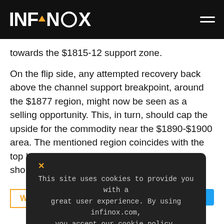INFINOX
towards the $1815-12 support zone.
On the flip side, any attempted recovery back above the channel support breakpoint, around the $1877 region, might now be seen as a selling opportunity. This, in turn, should cap the upside for the commodity near the $1890-$1900 area. The mentioned region coincides with the top boundary of the ascending channel and should act as a s
This site uses cookies to provide you with a great user experience. By using infinox.com, you accept our cookie policy.
WHAT'S NEW
Facebook
Twitter
LinkedIn
Commodities